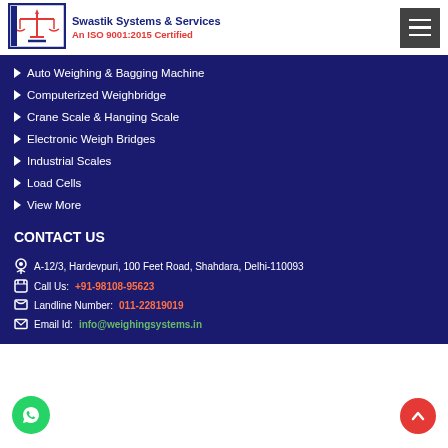[Figure (logo): Swastik Systems & Services logo with balance scales icon, blue border]
Swastik Systems & Services
An ISO 9001:2015 Certified
[Figure (other): Hamburger menu button (three horizontal lines on dark grey background)]
Auto Weighing & Bagging Machine
Computerized Weighbridge
Crane Scale & Hanging Scale
Electronic Weigh Bridges
Industrial Scales
Load Cells
View More
CONTACT US
A-12/3, Hardevpuri, 100 Feet Road, Shahdara, Delhi-110093
Call Us: +91-98108-95623
Landline Number: 011-22819019
Email Id: info@weighingsystems.in